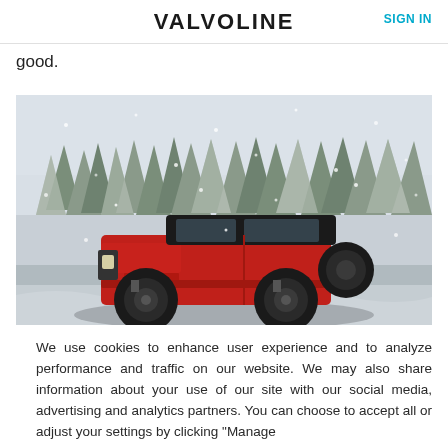VALVOLINE  SIGN IN
good.
[Figure (photo): A red Jeep Wrangler Rubicon with oversized wheels and lifted suspension driving through heavy snowfall, surrounded by snow-covered evergreen trees in the background.]
We use cookies to enhance user experience and to analyze performance and traffic on our website. We may also share information about your use of our site with our social media, advertising and analytics partners. You can choose to accept all or adjust your settings by clicking "Manage